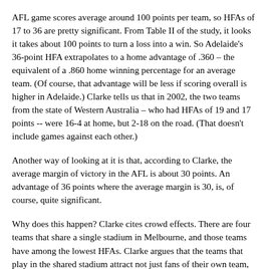AFL game scores average around 100 points per team, so HFAs of 17 to 36 are pretty significant. From Table II of the study, it looks it takes about 100 points to turn a loss into a win. So Adelaide's 36-point HFA extrapolates to a home advantage of .360 – the equivalent of a .860 home winning percentage for an average team. (Of course, that advantage will be less if scoring overall is higher in Adelaide.) Clarke tells us that in 2002, the two teams from the state of Western Australia – who had HFAs of 19 and 17 points -- were 16-4 at home, but 2-18 on the road. (That doesn't include games against each other.)
Another way of looking at it is that, according to Clarke, the average margin of victory in the AFL is about 30 points. An advantage of 36 points where the average margin is 30, is, of course, quite significant.
Why does this happen? Clarke cites crowd effects. There are four teams that share a single stadium in Melbourne, and those teams have among the lowest HFAs. Clarke argues that the teams that play in the shared stadium attract not just fans of their own team, but fans of the opposition, as well as neutral fans. Also, the stadium